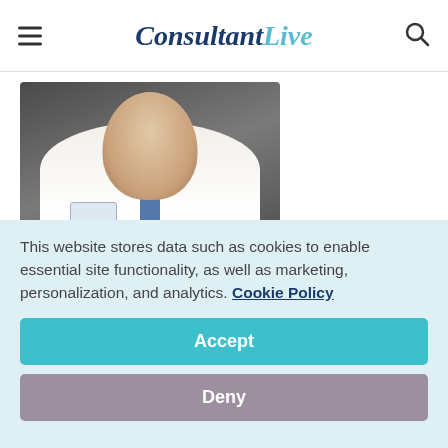ConsultantLive
[Figure (photo): Headshot of a male doctor in a white lab coat with a Brigham and Women's Hospital badge, wearing a blue tie, smiling against a dark background]
David D. Beer, MD, MPH
This website stores data such as cookies to enable essential site functionality, as well as marketing, personalization, and analytics. Cookie Policy
Accept
Deny